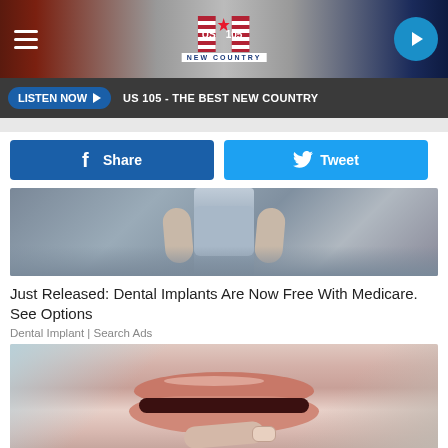US 105 NEW COUNTRY
LISTEN NOW ▶  US 105 - THE BEST NEW COUNTRY
f Share
Tweet
[Figure (photo): Person in grey outfit, cropped at waist, showing arms]
Just Released: Dental Implants Are Now Free With Medicare. See Options
Dental Implant | Search Ads
[Figure (photo): Close-up of lips with hand near mouth, medical/cosmetic context]